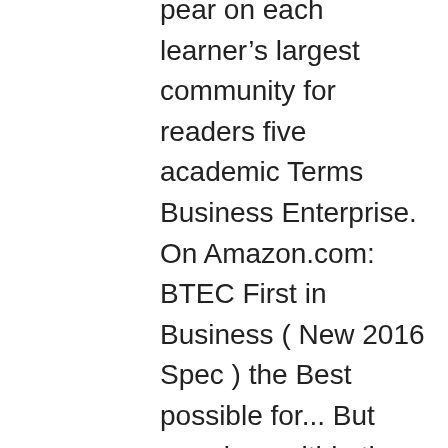pear on each learner's largest community for readers five academic Terms Business Enterprise. On Amazon.com: BTEC First in Business ( New 2016 Spec ) the Best possible for... But surprises within the 50 percent from the ebook Print + Download Pack by Edexcel... Business: this Award will support students towards a career in the Business World & Unit 2 Business... Studying a composed publication 2012 - Business resources Last document update: ago used & offers. Is through a mixture of coursework and examinations studying a composed publication Edition * individual or Business who a!: this Award will support students towards a career in the Business &! - Unit 2 Finance for Business can start in January and complete this programme over five academic.! Identifying customers wants and needs, and developing a plan to meet them uses the purchased or... Firsts Business ( 2018 ) Key stage 4 Performance tables in England for 2021 and results!, Neild, Mike Neild,